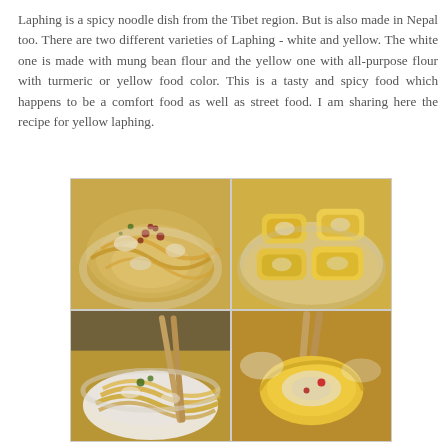Laphing is a spicy noodle dish from the Tibet region. But is also made in Nepal too. There are two different varieties of Laphing - white and yellow. The white one is made with mung bean flour and the yellow one with all-purpose flour with turmeric or yellow food color. This is a tasty and spicy food which happens to be a comfort food as well as street food. I am sharing here the recipe for yellow laphing.
[Figure (photo): A collage of four food photos showing yellow laphing (Tibetan/Nepali noodle dish). Top-left: laphing noodles in a bowl with chili flakes and toppings. Top-right: yellow laphing rolls in a round dish. Bottom-left: laphing noodles in a white bowl with chopsticks. Bottom-right: a yellow laphing roll being held with chopsticks showing filling inside.]